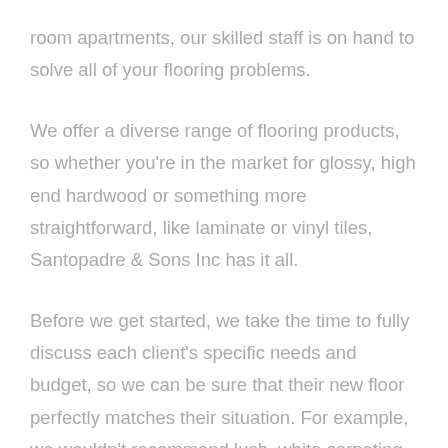room apartments, our skilled staff is on hand to solve all of your flooring problems.
We offer a diverse range of flooring products, so whether you're in the market for glossy, high end hardwood or something more straightforward, like laminate or vinyl tiles, Santopadre & Sons Inc has it all.
Before we get started, we take the time to fully discuss each client's specific needs and budget, so we can be sure that their new floor perfectly matches their situation. For example, we wouldn't recommend lush, white carpeting to